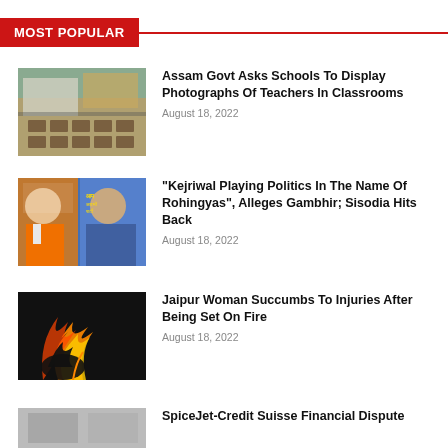MOST POPULAR
[Figure (photo): Empty classroom with rows of desks and chairs, blackboard and map on wall]
Assam Govt Asks Schools To Display Photographs Of Teachers In Classrooms
August 18, 2022
[Figure (photo): Two politicians, one wearing saffron scarf, other in blue shirt, AAP party banner behind]
“Kejriwal Playing Politics In The Name Of Rohingyas”, Alleges Gambhir; Sisodia Hits Back
August 18, 2022
[Figure (photo): Silhouette of person engulfed in flames against dark background]
Jaipur Woman Succumbs To Injuries After Being Set On Fire
August 18, 2022
[Figure (photo): Partial image, gray tones, SpiceJet article thumbnail]
SpiceJet-Credit Suisse Financial Dispute